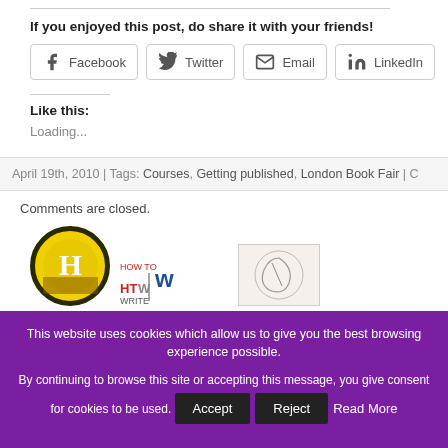If you enjoyed this post, do share it with your friends!
[Figure (infographic): Social share buttons: Facebook, Twitter, Email, LinkedIn]
Like this:
Loading...
April 19th, 2010 | Tags: Courses, Getting published, London Book Fair |
Comments are closed.
[Figure (logo): Three logos in a row: Hodder logo (H in circle), How To Write text logo, and a circular pen/writing logo]
This website uses cookies which allow us to give you the best browsing experience possible.
By continuing to browse this site or accepting this message, you give consent for cookies to be used.
Accept
Reject
Read More